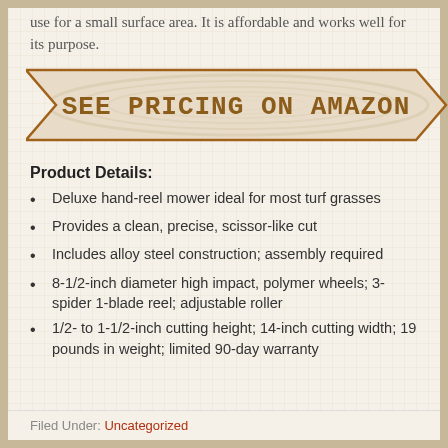use for a small surface area. It is affordable and works well for its purpose.
[Figure (infographic): Arrow-shaped banner with wood grain texture background reading SEE PRICING ON AMAZON in bold brown serif capital letters, with a brown border outline forming a chevron/arrow shape pointing right.]
Product Details:
Deluxe hand-reel mower ideal for most turf grasses
Provides a clean, precise, scissor-like cut
Includes alloy steel construction; assembly required
8-1/2-inch diameter high impact, polymer wheels; 3-spider 1-blade reel; adjustable roller
1/2- to 1-1/2-inch cutting height; 14-inch cutting width; 19 pounds in weight; limited 90-day warranty
Filed Under: Uncategorized